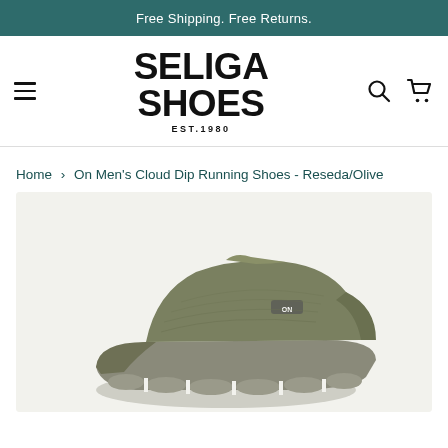Free Shipping. Free Returns.
[Figure (logo): Seliga Shoes logo with hamburger menu, search icon, and cart icon in navigation bar]
Home › On Men's Cloud Dip Running Shoes - Reseda/Olive
[Figure (photo): On Men's Cloud Dip Running Shoe in Reseda/Olive colorway, shown at an angle displaying the side profile of the shoe with knit upper and chunky sole]